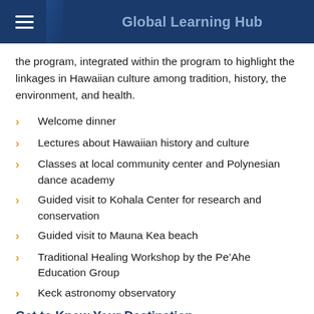Global Learning Hub
the program, integrated within the program to highlight the linkages in Hawaiian culture among tradition, history, the environment, and health.
Welcome dinner
Lectures about Hawaiian history and culture
Classes at local community center and Polynesian dance academy
Guided visit to Kohala Center for research and conservation
Guided visit to Mauna Kea beach
Traditional Healing Workshop by the Pe’Ahe Education Group
Keck astronomy observatory
Get to Know Your Destination